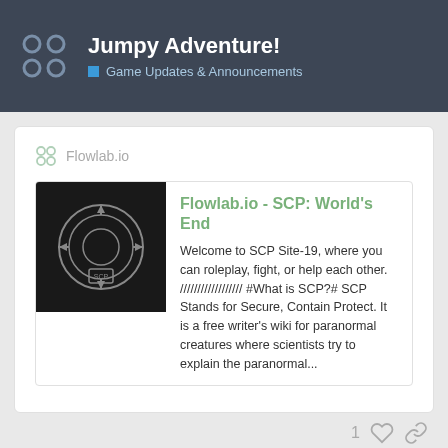Jumpy Adventure! — Game Updates & Announcements
Flowlab.io
Flowlab.io - SCP: World's End
Welcome to SCP Site-19, where you can roleplay, fight, or help each other. ////////////////// #What is SCP?# SCP Stands for Secure, Contain Protect. It is a free writer's wiki for paranormal creatures where scientists try to explain the paranormal...
1
18 / 82
Advxolbor